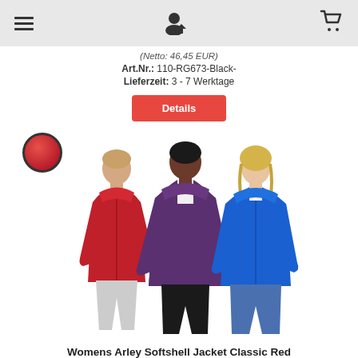Navigation bar with menu, user/login, and cart icons
(Netto: 46,45 EUR)
Art.Nr.: 110-RG673-Black-
Lieferzeit: 3 - 7 Werktage
Details
[Figure (photo): Three people wearing softshell jackets: left person in red jacket, center person in purple/dark jacket, right person in blue jacket. A red color swatch circle overlay is visible in the upper left of the image.]
Womens Arley Softshell Jacket Classic Red